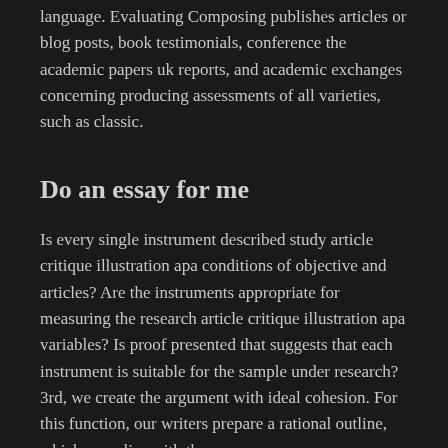language. Evaluating Composing publishes articles or blog posts, book testimonials, conference the academic papers uk reports, and academic exchanges concerning producing assessments of all varieties, such as classic.
Do an essay for me
Is every single instrument described study article critique illustration apa conditions of objective and articles? Are the instruments appropriate for measuring the research article critique illustration apa variables? Is proof presented that suggests that each instrument is suitable for the sample under research? 3rd, we create the argument with ideal cohesion. For this function, our writers prepare a rational outline, which complies with the essay